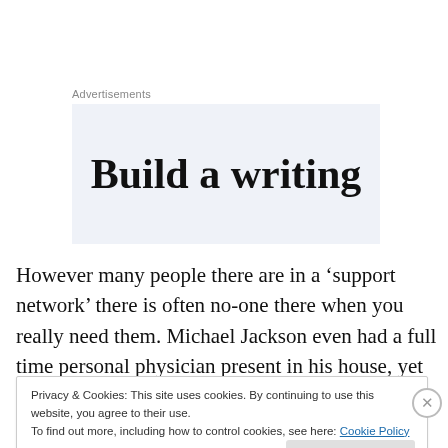Advertisements
[Figure (other): Advertisement banner with text 'Build a writing' on a light blue-grey background]
However many people there are in a ‘support network’ there is often no-one there when you really need them. Michael Jackson even had a full time personal physician present in his house, yet still died.
Privacy & Cookies: This site uses cookies. By continuing to use this website, you agree to their use.
To find out more, including how to control cookies, see here: Cookie Policy
Close and accept